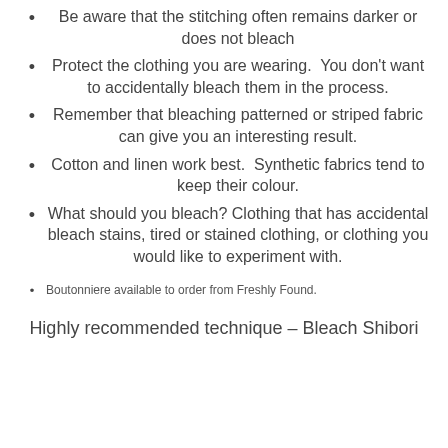Be aware that the stitching often remains darker or does not bleach
Protect the clothing you are wearing.  You don't want to accidentally bleach them in the process.
Remember that bleaching patterned or striped fabric can give you an interesting result.
Cotton and linen work best.  Synthetic fabrics tend to keep their colour.
What should you bleach? Clothing that has accidental bleach stains, tired or stained clothing, or clothing you would like to experiment with.
Boutonniere available to order from Freshly Found.
Highly recommended technique – Bleach Shibori